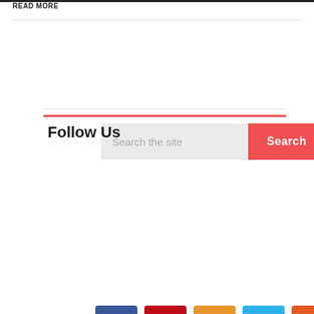READ MORE
[Figure (screenshot): Search bar with text input field 'Search the site' and red 'Search' button]
Follow Us
[Figure (infographic): Social media icons row: Facebook (blue), Pinterest (red), RSS (orange), Twitter (blue), Reddit (orange)]
[Figure (infographic): Back to top button — red square with white upward chevron, positioned at right edge]
[Figure (screenshot): Tab bar with 'Popular' (pink active tab) and 'Recent' (grey inactive tab)]